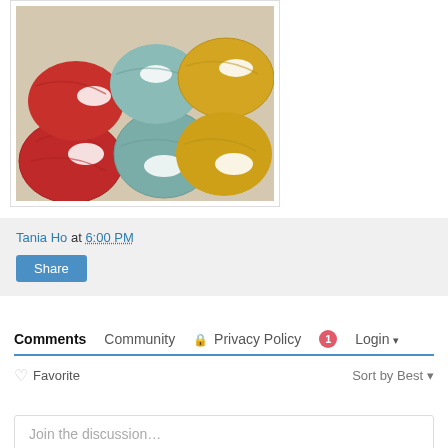[Figure (photo): Multiple balls of yarn in red, teal/sage green, and mustard yellow colors arranged on a light textured surface. The yarn balls have small white labels.]
Tania Ho at 6:00 PM
Share
Comments  Community  🔒 Privacy Policy  1  Login
♡ Favorite   Sort by Best